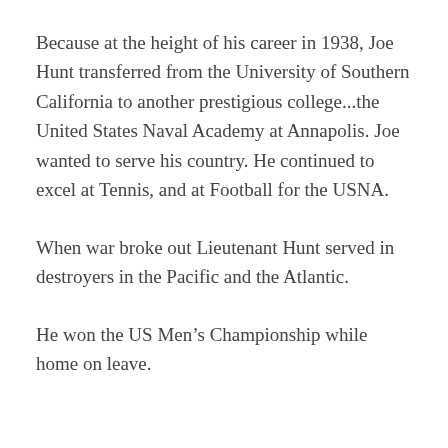Because at the height of his career in 1938, Joe Hunt transferred from the University of Southern California to another prestigious college...the United States Naval Academy at Annapolis. Joe wanted to serve his country. He continued to excel at Tennis, and at Football for the USNA.
When war broke out Lieutenant Hunt served in destroyers in the Pacific and the Atlantic.
He won the US Men’s Championship while home on leave.